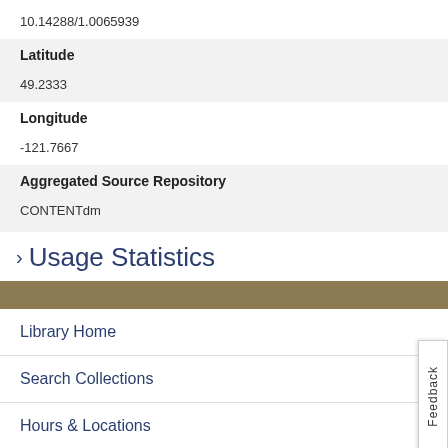10.14288/1.0065939
| Latitude |  |
| 49.2333 |  |
| Longitude |  |
| -121.7667 |  |
| Aggregated Source Repository |  |
| CONTENTdm |  |
> Usage Statistics
Library Home
Search Collections
Hours & Locations